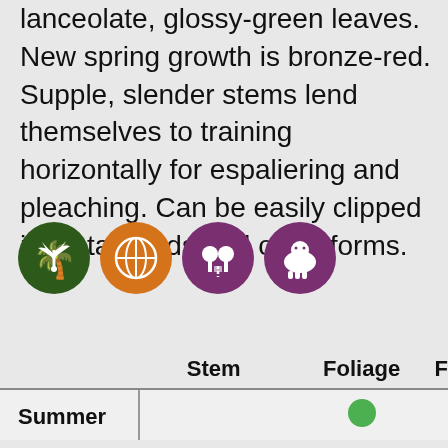lanceolate, glossy-green leaves. New spring growth is bronze-red. Supple, slender stems lend themselves to training horizontally for espaliering and pleaching. Can be easily clipped into standards and other forms.
[Figure (infographic): Four circular icons: dark green circle with white palm tree icon, orange circle with white globe/plant icon, purple circle with white tree-road icon, purple circle with white sheep/animal icon]
|  | Stem | Foliage |  |
| --- | --- | --- | --- |
| Summer |  | green dot |  |